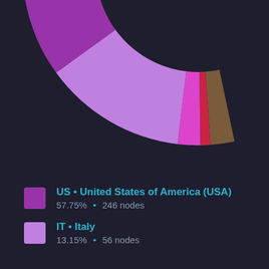[Figure (donut-chart): Nodes by Country]
US • United States of America (USA) 57.75% • 246 nodes
IT • Italy 13.15% • 56 nodes